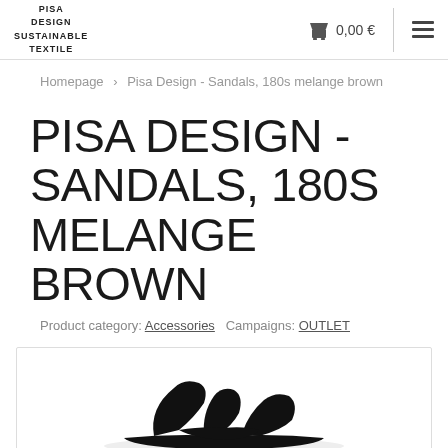PISA DESIGN SUSTAINABLE TEXTILE | Cart: 0,00 €
Homepage > Pisa Design - Sandals, 180s melange brown
PISA DESIGN - SANDALS, 180S MELANGE BROWN
Product category: Accessories   Campaigns: OUTLET
[Figure (photo): Photo of dark brown sandals on white background with light border]